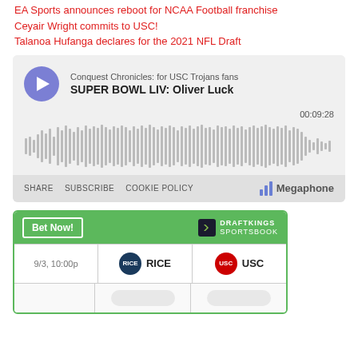EA Sports announces reboot for NCAA Football franchise
Ceyair Wright commits to USC!
Talanoa Hufanga declares for the 2021 NFL Draft
[Figure (screenshot): Podcast player widget showing 'Conquest Chronicles: for USC Trojans fans' episode 'SUPER BOWL LIV: Oliver Luck', timestamp 00:09:28, waveform audio visualization, with SHARE, SUBSCRIBE, COOKIE POLICY links and Megaphone branding]
[Figure (screenshot): DraftKings Sportsbook betting widget showing game Rice vs USC on 9/3, 10:00p with team logos and Bet Now button]